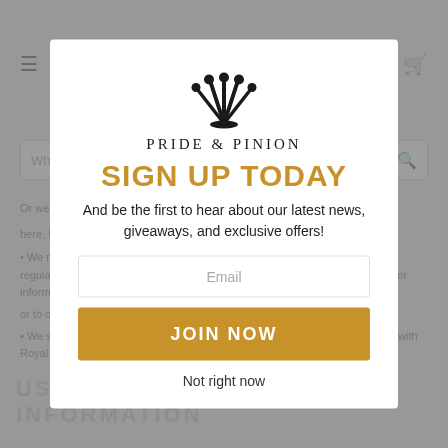[Figure (screenshot): Background webpage content showing a navigation header with hamburger menu and cart icon, a search bar reading 'What are you looking for?', body text about privacy policy and sharing information, and a section header 'USING PERSONAL INFORMATION'. Content is dimmed/blurred behind a modal overlay.]
[Figure (logo): Pride & Pinion logo: black crown/pinion gear icon above the text 'PRIDE & PINION' in spaced serif capitals]
SIGN UP TODAY
And be the first to hear about our latest news, giveaways, and exclusive offers!
Email
JOIN NOW
Not right now